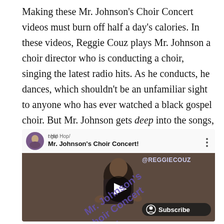Making these Mr. Johnson's Choir Concert videos must burn off half a day's calories. In these videos, Reggie Couz plays Mr. Johnson a choir director who is conducting a choir, singing the latest radio hits. As he conducts, he dances, which shouldn't be an unfamiliar sight to anyone who has ever watched a black gospel choir. But Mr. Johnson gets deep into the songs, bouncing around like Jim Carrey in his prime. This first installment also benefited from having XO Tour Lif3 and Mask Off as the songs being performed.
[Figure (screenshot): Embedded YouTube-style video preview showing Mr. Johnson's Choir Concert video by Reggie Couz, with a Subscribe button, @REGGIECOUZ watermark, and diagonal 'Mr. Johnson's Choir Concert!!' watermark text overlay.]